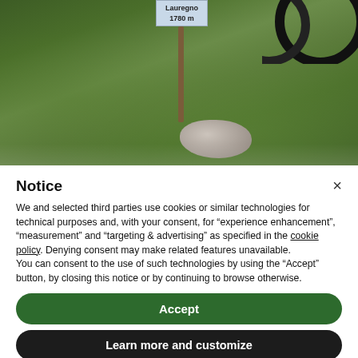[Figure (photo): Outdoor photo showing a green grassy hillside with a wooden sign post reading 'Lauregno 1780 m', a large rock in the foreground, and bicycle wheels visible at the top right.]
Notice
We and selected third parties use cookies or similar technologies for technical purposes and, with your consent, for “experience enhancement”, “measurement” and “targeting & advertising” as specified in the cookie policy. Denying consent may make related features unavailable.
You can consent to the use of such technologies by using the “Accept” button, by closing this notice or by continuing to browse otherwise.
Accept
Learn more and customize